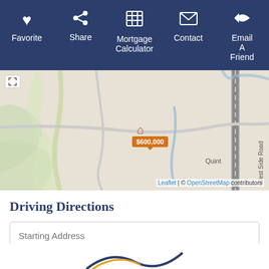[Figure (screenshot): Navigation toolbar with Favorite, Share, Mortgage Calculator, Contact, and Email A Friend buttons on dark blue background with white icons]
[Figure (map): OpenStreetMap tile showing property location with house icon and $600,000 price marker near Quint and West Side Road area. Attribution: Leaflet | © OpenStreetMap contributors]
Driving Directions
Starting Address (input field placeholder)
Get Directions (button)